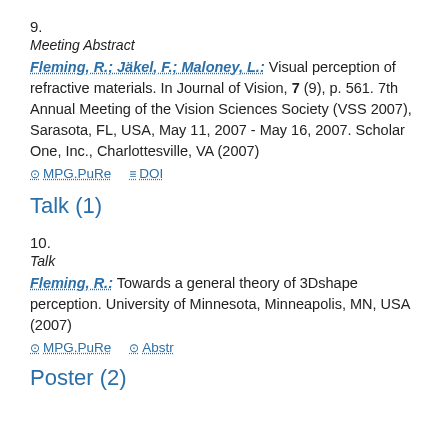9.
Meeting Abstract
Fleming, R.; Jäkel, F.; Maloney, L.: Visual perception of refractive materials. In Journal of Vision, 7 (9), p. 561. 7th Annual Meeting of the Vision Sciences Society (VSS 2007), Sarasota, FL, USA, May 11, 2007 - May 16, 2007. Scholar One, Inc., Charlottesville, VA (2007)
MPG.PuRe   DOI
Talk (1)
10.
Talk
Fleming, R.: Towards a general theory of 3Dshape perception. University of Minnesota, Minneapolis, MN, USA (2007)
MPG.PuRe   Abstr
Poster (2)